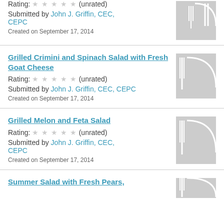Rating: ☆☆☆☆☆ (unrated)
Submitted by John J. Griffin, CEC, CEPC
Created on September 17, 2014
Grilled Crimini and Spinach Salad with Fresh Goat Cheese
Rating: ☆☆☆☆☆ (unrated)
Submitted by John J. Griffin, CEC, CEPC
Created on September 17, 2014
Grilled Melon and Feta Salad
Rating: ☆☆☆☆☆ (unrated)
Submitted by John J. Griffin, CEC, CEPC
Created on September 17, 2014
Summer Salad with Fresh Pears,